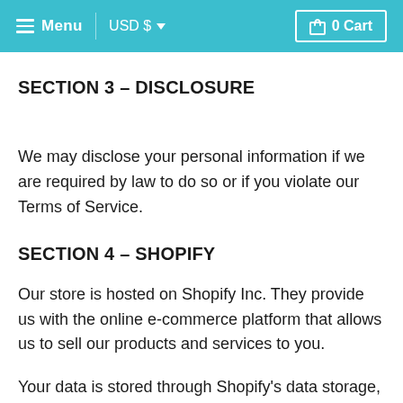Menu  USD $  0 Cart
SECTION 3 – DISCLOSURE
We may disclose your personal information if we are required by law to do so or if you violate our Terms of Service.
SECTION 4 – SHOPIFY
Our store is hosted on Shopify Inc. They provide us with the online e-commerce platform that allows us to sell our products and services to you.
Your data is stored through Shopify's data storage, databases and the general Shopify application. They store your data on a secure server behind a firewall.